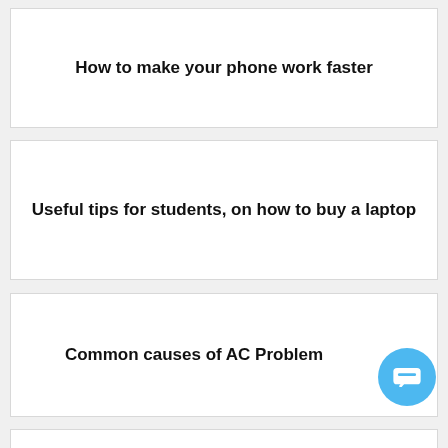How to make your phone work faster
Useful tips for students, on how to buy a laptop
Common causes of AC Problem